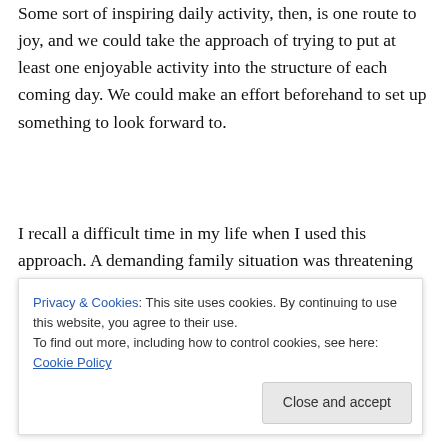Some sort of inspiring daily activity, then, is one route to joy, and we could take the approach of trying to put at least one enjoyable activity into the structure of each coming day. We could make an effort beforehand to set up something to look forward to.
I recall a difficult time in my life when I used this approach. A demanding family situation was threatening to drain the joy from every moment, but something deep within said, “No, I’m not going to let that happen.” My way of finding enjoyment was to get up each morning an hour before the
Privacy & Cookies: This site uses cookies. By continuing to use this website, you agree to their use.
To find out more, including how to control cookies, see here: Cookie Policy
arose during that hour lingered on, helping me deal with